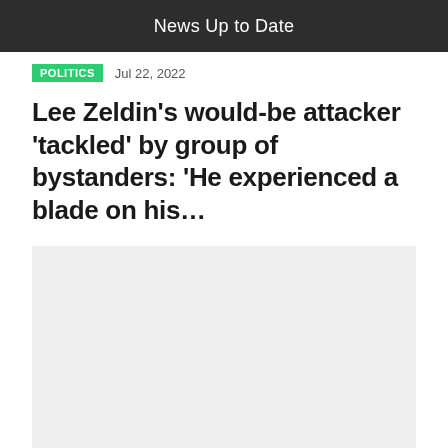News Up to Date
POLITICS  Jul 22, 2022
Lee Zeldin's would-be attacker 'tackled' by group of bystanders: 'He experienced a blade on his…
[Figure (photo): Gray placeholder image area for article photo]